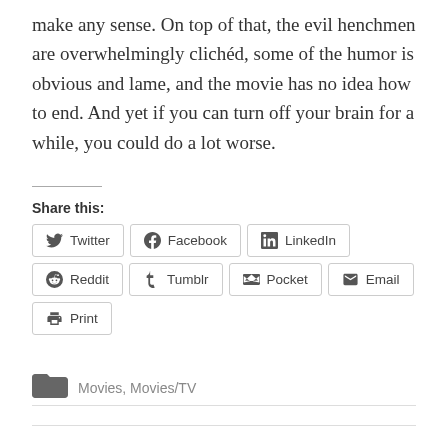make any sense. On top of that, the evil henchmen are overwhelmingly clichéd, some of the humor is obvious and lame, and the movie has no idea how to end. And yet if you can turn off your brain for a while, you could do a lot worse.
Share this:
Twitter  Facebook  LinkedIn  Reddit  Tumblr  Pocket  Email  Print
Movies, Movies/TV